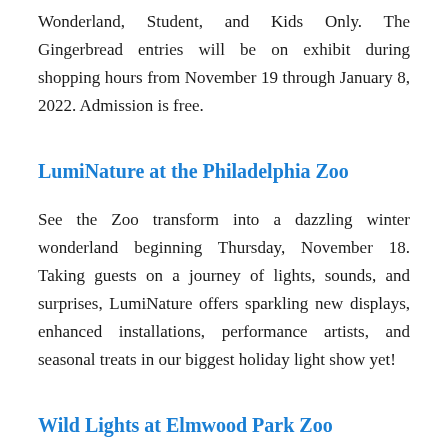Wonderland, Student, and Kids Only. The Gingerbread entries will be on exhibit during shopping hours from November 19 through January 8, 2022. Admission is free.
LumiNature at the Philadelphia Zoo
See the Zoo transform into a dazzling winter wonderland beginning Thursday, November 18. Taking guests on a journey of lights, sounds, and surprises, LumiNature offers sparkling new displays, enhanced installations, performance artists, and seasonal treats in our biggest holiday light show yet!
Wild Lights at Elmwood Park Zoo